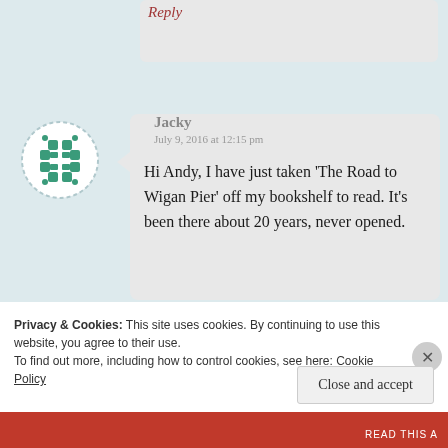Reply
[Figure (illustration): Green geometric/Celtic knot-style avatar icon in a circular frame with dashed border]
Jacky
July 9, 2016 at 12:15 pm
Hi Andy, I have just taken 'The Road to Wigan Pier' off my bookshelf to read. It's been there about 20 years, never opened.
★ Liked by 1 person
Privacy & Cookies: This site uses cookies. By continuing to use this website, you agree to their use.
To find out more, including how to control cookies, see here: Cookie Policy
Close and accept